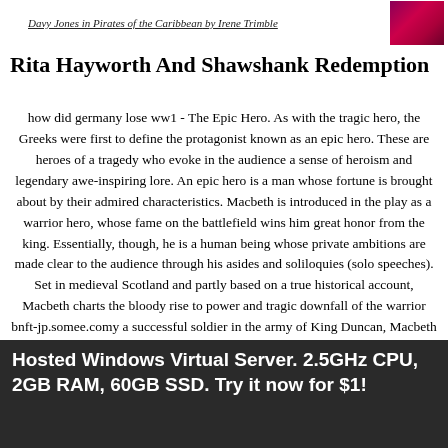Davy Jones in Pirates of the Caribbean by Irene Trimble
Rita Hayworth And Shawshank Redemption
how did germany lose ww1 - The Epic Hero. As with the tragic hero, the Greeks were first to define the protagonist known as an epic hero. These are heroes of a tragedy who evoke in the audience a sense of heroism and legendary awe-inspiring lore. An epic hero is a man whose fortune is brought about by their admired characteristics. Macbeth is introduced in the play as a warrior hero, whose fame on the battlefield wins him great honor from the king. Essentially, though, he is a human being whose private ambitions are made clear to the audience through his asides and soliloquies (solo speeches). Set in medieval Scotland and partly based on a true historical account, Macbeth charts the bloody rise to power and tragic downfall of the warrior bnft-jp.somee.comy a successful soldier in the army of King Duncan, Macbeth is informed by Three Witches that he is to become bnft-jp.somee.com part of the same prophecy, the Witches predict that future Scottish kings will be descended not from Macbeth but from. Erika Fischer-Lichte: A Comparative Analysis
Hosted Windows Virtual Server. 2.5GHz CPU, 2GB RAM, 60GB SSD. Try it now for $1!